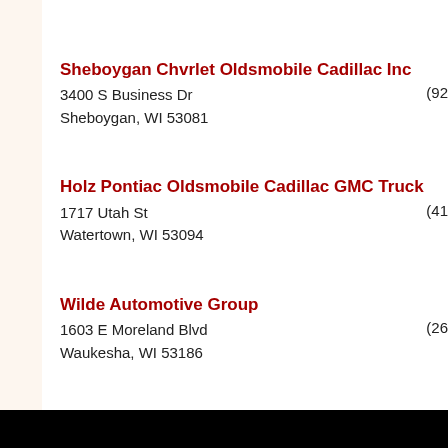Sheboygan Chvrlet Oldsmobile Cadillac Inc
3400 S Business Dr
Sheboygan, WI 53081
(92...
Holz Pontiac Oldsmobile Cadillac GMC Truck
1717 Utah St
Watertown, WI 53094
(41...
Wilde Automotive Group
1603 E Moreland Blvd
Waukesha, WI 53186
(26...
West Bend Chevrolet Olds Cadillac Inc
2620 W Washington St
West Bend, WI 53095
(26...